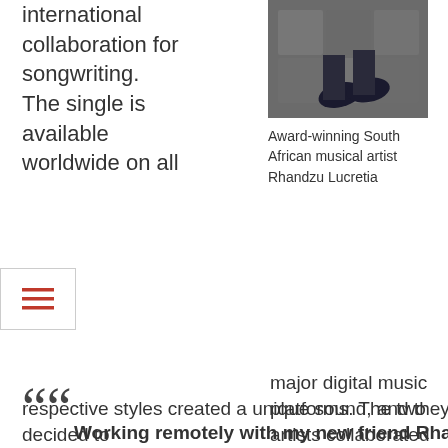international collaboration for songwriting. The single is available worldwide on all
[Figure (photo): Photo of feet/shoes on paved ground, partial view of a person's legs from above]
Award-winning South African musical artist Rhandzu Lucretia
major digital music platforms. The two artists collaborated virtually during the pandemic and found that their
Working remotely with my new friend Rhandzu Lucretia has been a wonderful experience. I had already written an instrumental piece, I shared it, and she wrote a beautiful melody and lyrics for it.
— Singer-songwriter Will Diehl
respective styles created a unique sound, and they decided to